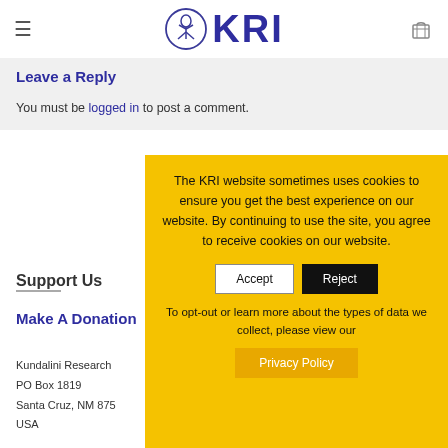KRI
Leave a Reply
You must be logged in to post a comment.
Support Us
Make A Donation
Kundalini Research
PO Box 1819
Santa Cruz, NM 875
USA
The KRI website sometimes uses cookies to ensure you get the best experience on our website. By continuing to use the site, you agree to receive cookies on our website.
Accept  Reject
To opt-out or learn more about the types of data we collect, please view our
Privacy Policy